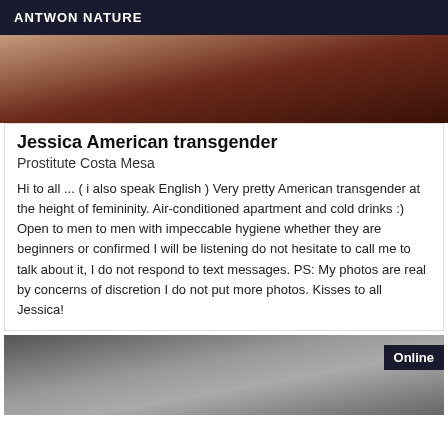ANTWON NATURE
[Figure (photo): Partial body photo with warm skin tones and dark background]
Jessica American transgender
Prostitute Costa Mesa
Hi to all ... ( i also speak English ) Very pretty American transgender at the height of femininity. Air-conditioned apartment and cold drinks :) Open to men to men with impeccable hygiene whether they are beginners or confirmed I will be listening do not hesitate to call me to talk about it, I do not respond to text messages. PS: My photos are real by concerns of discretion I do not put more photos. Kisses to all Jessica!
[Figure (photo): Dark grayscale body photo with Online badge]